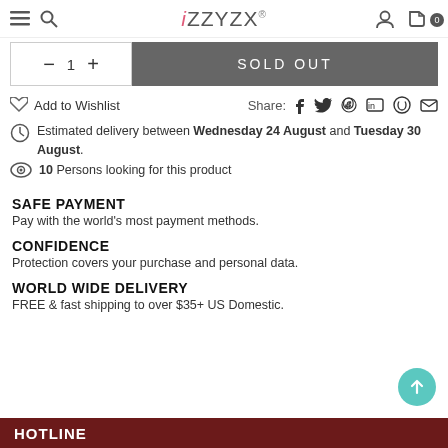iZZYZX®
SOLD OUT
Add to Wishlist
Share:
Estimated delivery between Wednesday 24 August and Tuesday 30 August.
10 Persons looking for this product
SAFE PAYMENT
Pay with the world's most payment methods.
CONFIDENCE
Protection covers your purchase and personal data.
WORLD WIDE DELIVERY
FREE & fast shipping to over $35+ US Domestic.
HOTLINE